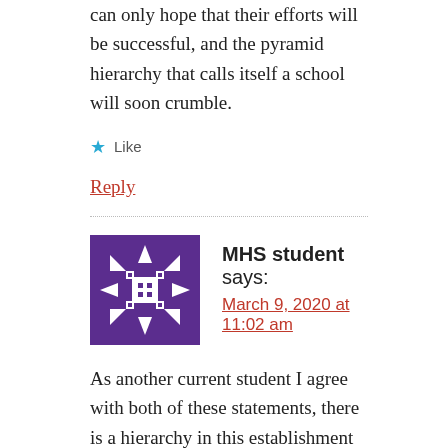can only hope that their efforts will be successful, and the pyramid hierarchy that calls itself a school will soon crumble.
★ Like
Reply
MHS student says:
March 9, 2020 at 11:02 am
As another current student I agree with both of these statements, there is a hierarchy in this establishment and it cripples the lesser students everyday. its saddening to see but mhs staff mostly cares for the "high flyers" or